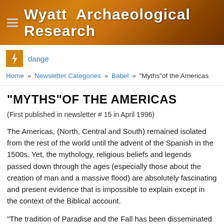[Figure (illustration): Website header banner with warm brown/orange rocky texture background and site title 'Wyatt Archaeological Research' in large bold white text with hamburger menu icon on left]
dange
Home » Newsletter Categories » Babel » "Myths"of the Americas
"MYTHS"OF THE AMERICAS
(First published in newsletter # 15 in April 1996)
The Americas, (North, Central and South) remained isolated from the rest of the world until the advent of the Spanish in the 1500s. Yet, the mythology, religious beliefs and legends passed down through the ages (especially those about the creation of man and a massive flood) are absolutely fascinating and present evidence that is impossible to explain except in the context of the Biblical account.
"The tradition of Paradise and the Fall has been disseminated in one form or another among virtually all the races on earth since time